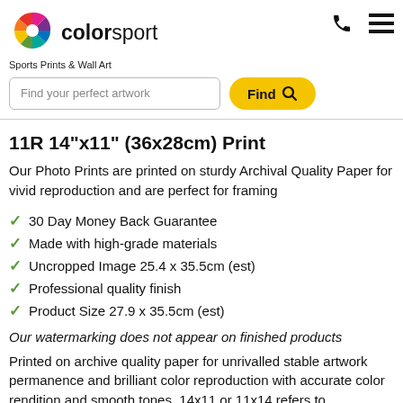colorsport — Sports Prints & Wall Art
[Figure (logo): Colorsport logo: multicolor pinwheel/camera shutter icon followed by text 'colorsport' in bold/light weight]
11R 14"x11" (36x28cm) Print
Our Photo Prints are printed on sturdy Archival Quality Paper for vivid reproduction and are perfect for framing
30 Day Money Back Guarantee
Made with high-grade materials
Uncropped Image 25.4 x 35.5cm (est)
Professional quality finish
Product Size 27.9 x 35.5cm (est)
Our watermarking does not appear on finished products
Printed on archive quality paper for unrivalled stable artwork permanence and brilliant color reproduction with accurate color rendition and smooth tones. 14x11 or 11x14 refers to